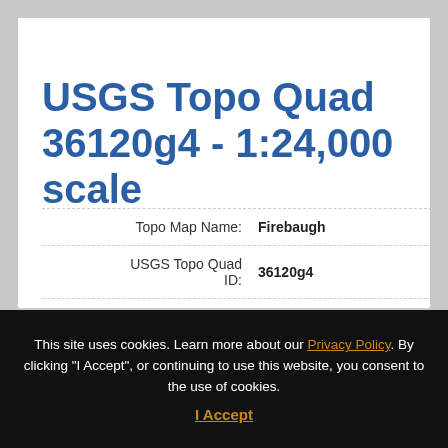ℹ Firebaugh map details
USGS Topo Quad 36120g4 - 1:24,000 scale
| Field | Value |
| --- | --- |
| Topo Map Name: | Firebaugh |
| USGS Topo Quad ID: | 36120g4 |
| Print Size: | ca. 21 1/4" wide x 27" high |
This site uses cookies. Learn more about our Privacy Policy. By clicking "I Accept", or continuing to use this website, you consent to the use of cookies.
I Accept